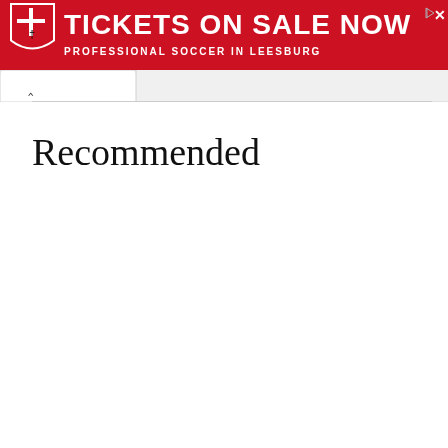[Figure (screenshot): Red advertisement banner for Loudoun soccer team. Shows a shield logo on the left and bold white text reading 'TICKETS ON SALE NOW' with subtitle 'PROFESSIONAL SOCCER IN LEESBURG'. A navigation/play icon and close X button appear in top-right corner.]
[Figure (screenshot): Browser tab bar with a white active tab containing an upward-pointing chevron (^) symbol, on a light gray background.]
Recommended